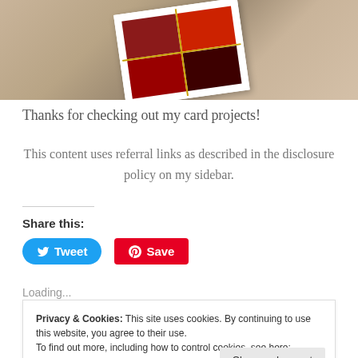[Figure (photo): A photo of a decorative card with red and dark grid pattern and gold lines, placed on a wooden surface at an angle]
Thanks for checking out my card projects!
This content uses referral links as described in the disclosure policy on my sidebar.
Share this:
Tweet
Save
Loading...
Privacy & Cookies: This site uses cookies. By continuing to use this website, you agree to their use.
To find out more, including how to control cookies, see here: Cookie Policy